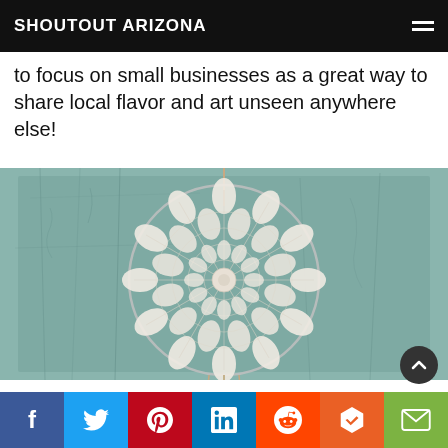SHOUTOUT ARIZONA
to focus on small businesses as a great way to share local flavor and art unseen anywhere else!
[Figure (photo): A cream/white crocheted doily dream catcher hanging on a weathered teal/mint-painted wooden door. The doily is circular with intricate lace patterns and hangs from a metal ring with feathers/driftwood at the bottom.]
Social share bar: Facebook, Twitter, Pinterest, LinkedIn, Reddit, Mix, Email